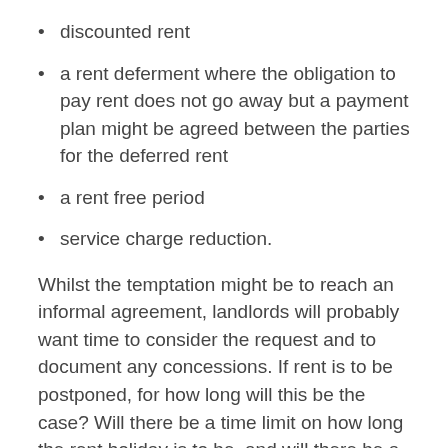discounted rent
a rent deferment where the obligation to pay rent does not go away but a payment plan might be agreed between the parties for the deferred rent
a rent free period
service charge reduction.
Whilst the temptation might be to reach an informal agreement, landlords will probably want time to consider the request and to document any concessions. If rent is to be postponed, for how long will this be the case? Will there be a time limit on how long the rent holiday is to be, and will there be a mechanism for ending the agreement? It is also important to ensure the parties are agreed as to which rents any concession will apply – will it apply to all